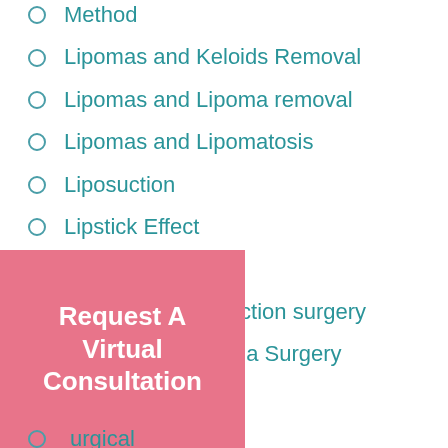Method
Lipomas and Keloids Removal
Lipomas and Lipoma removal
Lipomas and Lipomatosis
Liposuction
Lipstick Effect
Love
Male Breast Reduction surgery
Male Gynecomastia Surgery
medical
...urgical
Request A Virtual Consultation